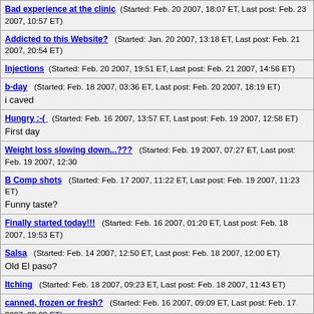Bad experience at the clinic (Started: Feb. 20 2007, 18:07 ET, Last post: Feb. 23 2007, 10:57 ET)
Addicted to this Website? (Started: Jan. 20 2007, 13:18 ET, Last post: Feb. 21 2007, 20:54 ET)
Injections (Started: Feb. 20 2007, 19:51 ET, Last post: Feb. 21 2007, 14:56 ET)
b-day (Started: Feb. 18 2007, 03:36 ET, Last post: Feb. 20 2007, 18:19 ET)
i caved
Hungry :-( (Started: Feb. 16 2007, 13:57 ET, Last post: Feb. 19 2007, 12:58 ET)
First day
Weight loss slowing down...??? (Started: Feb. 19 2007, 07:27 ET, Last post: Feb. 19 2007, 12:30
B Comp shots (Started: Feb. 17 2007, 11:22 ET, Last post: Feb. 19 2007, 11:23 ET)
Funny taste?
Finally started today!!! (Started: Feb. 16 2007, 01:20 ET, Last post: Feb. 18 2007, 19:53 ET)
Salsa (Started: Feb. 14 2007, 12:50 ET, Last post: Feb. 18 2007, 12:00 ET)
Old El paso?
Itching (Started: Feb. 18 2007, 09:23 ET, Last post: Feb. 18 2007, 11:43 ET)
canned, frozen or fresh? (Started: Feb. 16 2007, 09:09 ET, Last post: Feb. 17 2007, 22:20 ET)
Veggies and sodium problems?
Growling tummy? (Started: Feb. 9 2007, 18:15 ET, Last post: Feb. 17 2007, 14:38 ET)
ONEderland...! (Started: Feb. 14 2007, 12:59 ET, Last post: Feb. 17 2007, 12:00 ET)
Road Trip Snacks? (Started: Feb. 13 2007, 11:40 ET, Last post: Feb. 17 2007, 09:02 ET)